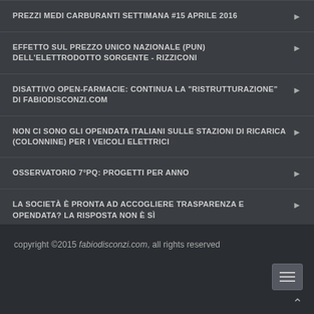PREZZI MEDI CARBURANTI SETTIMANA #15 APRILE 2016
EFFETTO SUL PREZZO UNICO NAZIONALE (PUN) DELL'ELETTRODOTTO SORGENTE - RIZZICONI
DISATTIVO OPEN-FARMACIE: CONTINUA LA "RISTRUTTURAZIONE" DI FABIODISCONZI.COM
NON CI SONO GLI OPENDATA ITALIANI SULLE STAZIONI DI RICARICA (COLONNINE) PER I VEICOLI ELETTRICI
OSSERVATORIO 7°PQ: PROGETTI PER ANNO
LA SOCIETÀ È PRONTA AD ACCOGLIERE TRASPARENZA E OPENDATA? LA RISPOSTA NON È SÌ
copyright ©2015 fabiodisconzi.com, all rights reserved